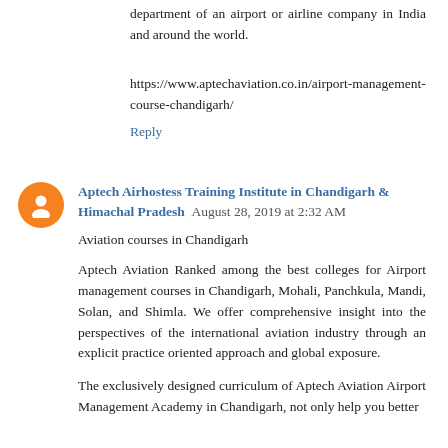department of an airport or airline company in India and around the world.
https://www.aptechaviation.co.in/airport-management-course-chandigarh/
Reply
Aptech Airhostess Training Institute in Chandigarh & Himachal Pradesh  August 28, 2019 at 2:32 AM
Aviation courses in Chandigarh
Aptech Aviation Ranked among the best colleges for Airport management courses in Chandigarh, Mohali, Panchkula, Mandi, Solan, and Shimla. We offer comprehensive insight into the perspectives of the international aviation industry through an explicit practice oriented approach and global exposure.
The exclusively designed curriculum of Aptech Aviation Airport Management Academy in Chandigarh, not only help you better understand the roles of various departments of industry, but also